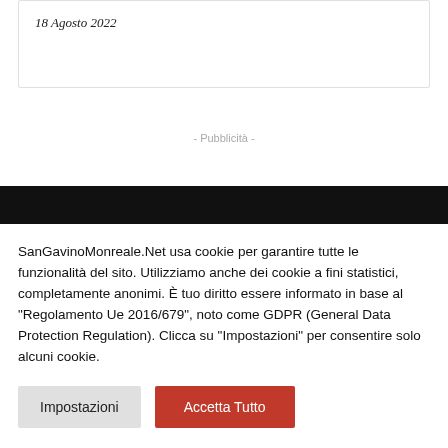18 Agosto 2022
- Pubblicità -
SanGavinoMonreale.Net usa cookie per garantire tutte le funzionalità del sito. Utilizziamo anche dei cookie a fini statistici, completamente anonimi. È tuo diritto essere informato in base al "Regolamento Ue 2016/679", noto come GDPR (General Data Protection Regulation). Clicca su "Impostazioni" per consentire solo alcuni cookie.
Impostazioni
Accetta Tutto